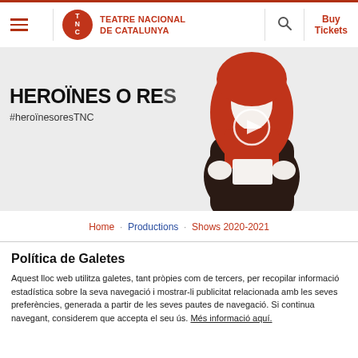TNC | TEATRE NACIONAL DE CATALUNYA | Buy Tickets
[Figure (screenshot): Website header showing TNC logo (red circle with TNC text), site title 'TEATRE NACIONAL DE CATALUNYA', search icon, and 'Buy Tickets' link. Below is a hero banner with a hooded figure illustration in red/dark tones, overlaid with 'HEROÏNES O RES' and '#heroïnesoresTNC'.]
HEROÏNES O RES
#heroïnesoresTNC
Home · Productions · Shows 2020-2021
Política de Galetes
Aquest lloc web utilitza galetes, tant pròpies com de tercers, per recopilar informació estadística sobre la seva navegació i mostrar-li publicitat relacionada amb les seves preferències, generada a partir de les seves pautes de navegació. Si continua navegant, considerem que accepta el seu ús. Més informació aquí.